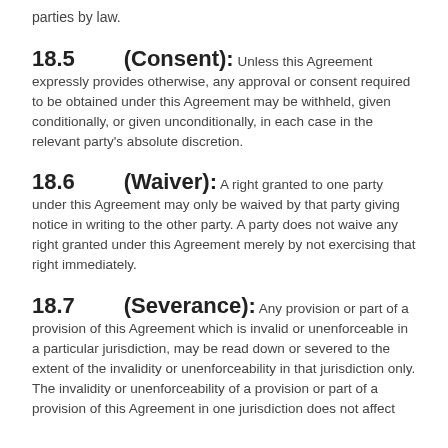parties by law.
18.5    (Consent):
Unless this Agreement expressly provides otherwise, any approval or consent required to be obtained under this Agreement may be withheld, given conditionally, or given unconditionally, in each case in the relevant party's absolute discretion.
18.6    (Waiver):
A right granted to one party under this Agreement may only be waived by that party giving notice in writing to the other party. A party does not waive any right granted under this Agreement merely by not exercising that right immediately.
18.7    (Severance):
Any provision or part of a provision of this Agreement which is invalid or unenforceable in a particular jurisdiction, may be read down or severed to the extent of the invalidity or unenforceability in that jurisdiction only. The invalidity or unenforceability of a provision or part of a provision of this Agreement in one jurisdiction does not affect